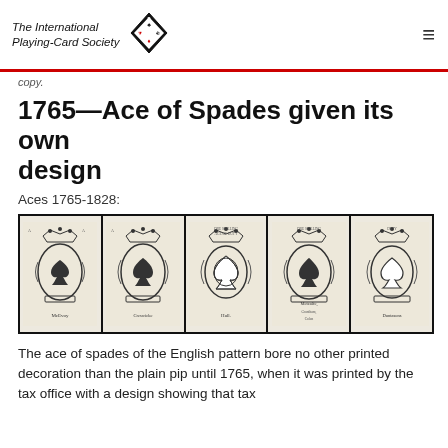The International Playing-Card Society
copy.
1765—Ace of Spades given its own design
Aces 1765-1828:
[Figure (photo): Five historical Ace of Spades cards from 1765-1828, each showing ornate heraldic designs with crowns and spade pips. Cards labeled McEvoy, Creswicke, Hall, Metcalfe, and Duntasons.]
The ace of spades of the English pattern bore no other printed decoration than the plain pip until 1765, when it was printed by the tax office with a design showing that tax